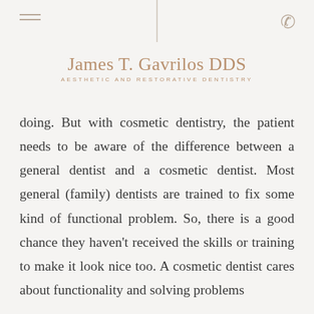James T. Gavrilos DDS — Aesthetic and Restorative Dentistry
doing. But with cosmetic dentistry, the patient needs to be aware of the difference between a general dentist and a cosmetic dentist. Most general (family) dentists are trained to fix some kind of functional problem. So, there is a good chance they haven't received the skills or training to make it look nice too. A cosmetic dentist cares about functionality and solving problems